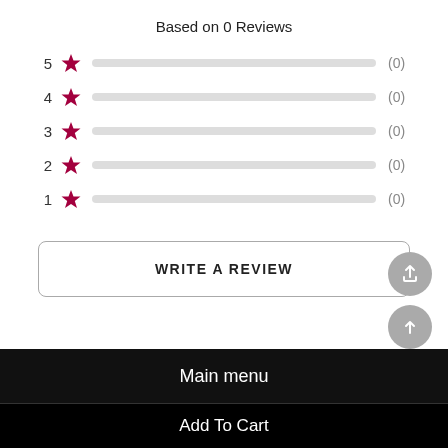Based on 0 Reviews
[Figure (infographic): Star rating breakdown showing 5 rows (5 star to 1 star), each with a red star icon, a light grey progress bar (empty, 0%), and a count of (0).]
WRITE A REVIEW
Main menu
Add To Cart